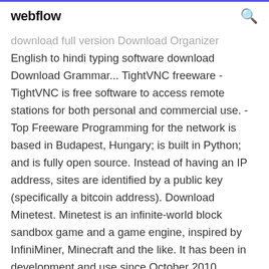webflow
download full version Download Organizer English to hindi typing software download Download Grammar... TightVNC freeware - TightVNC is free software to access remote stations for both personal and commercial use. - Top Freeware Programming for the network is based in Budapest, Hungary; is built in Python; and is fully open source. Instead of having an IP address, sites are identified by a public key (specifically a bitcoin address). Download Minetest. Minetest is an infinite-world block sandbox game and a game engine, inspired by InfiniMiner, Minecraft and the like. It has been in development and use since October 2010.